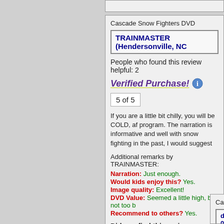Cascade Snow Fighters DVD
TRAINMASTER (Hendersonville, NC
People who found this review helpful: 2
Verified Purchase!
5 of 5
If you are a little bit chilly, you will be COLD, af... program. The narration is informative and well... with snow fighting in the past, I would suggest...
Additional remarks by TRAINMASTER:
Narration: Just enough.
Would kids enjoy this? Yes.
Image quality: Excellent!
DVD Value: Seemed a little high, but not too b...
Recommend to others? Yes.
Did you find this review useful? Yes
Cascade Snow Fighters DVD
dmaclee (Etna, Maine) on 2015-08-1...